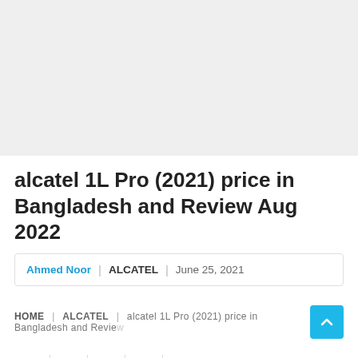[Figure (other): Gray advertisement or image placeholder area at the top of the page]
alcatel 1L Pro (2021) price in Bangladesh and Review Aug 2022
Ahmed Noor | ALCATEL | June 25, 2021
HOME | ALCATEL | alcatel 1L Pro (2021) price in Bangladesh and Review